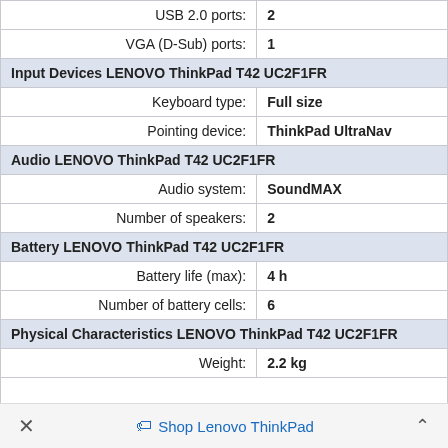| USB 2.0 ports: | 2 |
| VGA (D-Sub) ports: | 1 |
| Input Devices LENOVO ThinkPad T42 UC2F1FR |  |
| Keyboard type: | Full size |
| Pointing device: | ThinkPad UltraNav |
| Audio LENOVO ThinkPad T42 UC2F1FR |  |
| Audio system: | SoundMAX |
| Number of speakers: | 2 |
| Battery LENOVO ThinkPad T42 UC2F1FR |  |
| Battery life (max): | 4 h |
| Number of battery cells: | 6 |
| Physical Characteristics LENOVO ThinkPad T42 UC2F1FR |  |
| Weight: | 2.2 kg |
✕   🏷 Shop Lenovo ThinkPad   ^